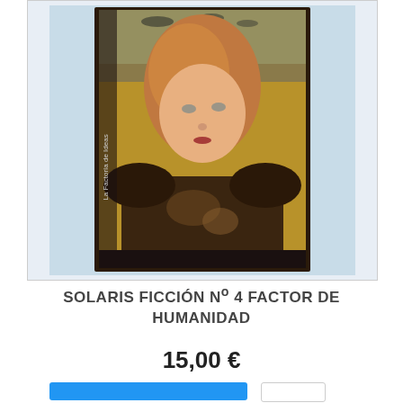[Figure (photo): Photo of a book cover for 'Solaris Ficción Nº 4 Factor de Humanidad'. The cover shows an illustrated face of a person with short reddish-blonde hair against an earthy background. The spine text reads 'La Factoría de Ideas'. The image is framed with a light blue background.]
SOLARIS FICCIÓN Nº 4 FACTOR DE HUMANIDAD
15,00 €